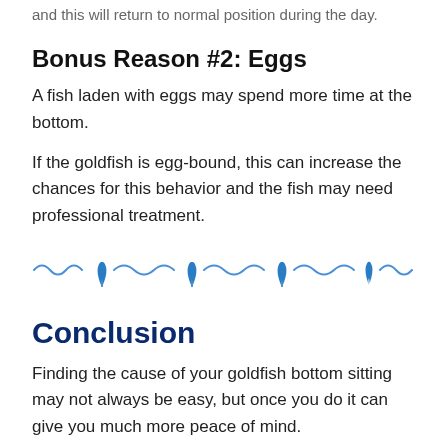and this will return to normal position during the day.
Bonus Reason #2: Eggs
A fish laden with eggs may spend more time at the bottom.
If the goldfish is egg-bound, this can increase the chances for this behavior and the fish may need professional treatment.
[Figure (illustration): Decorative divider with blue wavy lines and blue seaweed/plant icons alternating across the width]
Conclusion
Finding the cause of your goldfish bottom sitting may not always be easy, but once you do it can give you much more peace of mind.